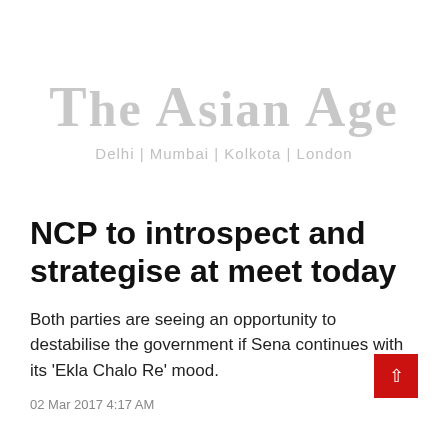The Asian Age — Delhi | Mumbai | Kolkota | London
NCP to introspect and strategise at meet today
Both parties are seeing an opportunity to destabilise the government if Sena continues with its 'Ekla Chalo Re' mood.
02 Mar 2017 4:17 AM